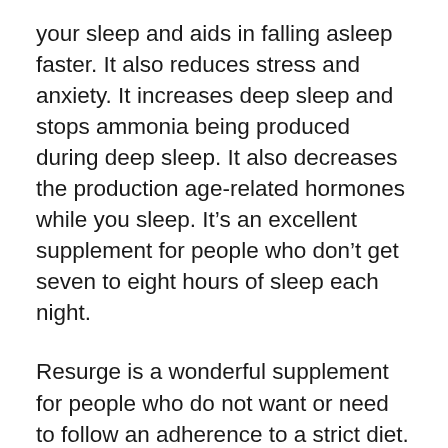your sleep and aids in falling asleep faster. It also reduces stress and anxiety. It increases deep sleep and stops ammonia being produced during deep sleep. It also decreases the production age-related hormones while you sleep. It’s an excellent supplement for people who don’t get seven to eight hours of sleep each night.
Resurge is a wonderful supplement for people who do not want or need to follow an adherence to a strict diet. It works by enhancing your sleep-related psychology and helping you to fall asleep. It has ingredients formulated to improve your metabolism. It is a safe and effective way to lose weight. You’ll feel refreshed after a tiring day of work and will end your nightly